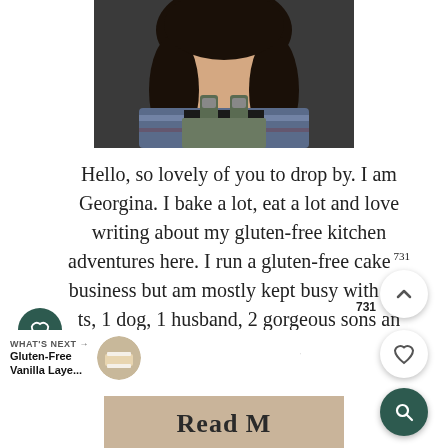[Figure (photo): Portrait photo of a woman with dark hair wearing overalls over a black and plaid shirt, cropped to show head and shoulders]
Hello, so lovely of you to drop by. I am Georgina. I bake a lot, eat a lot and love writing about my gluten-free kitchen adventures here. I run a gluten-free cake business but am mostly kept busy with my ts, 1 dog, 1 husband, 2 gorgeous sons and twin baby girls.
[Figure (photo): Small circular thumbnail image of a layered cake]
WHAT'S NEXT → Gluten-Free Vanilla Laye...
[Figure (photo): Bottom partial image strip with warm tan/beige background, partially visible text 'Read M...']